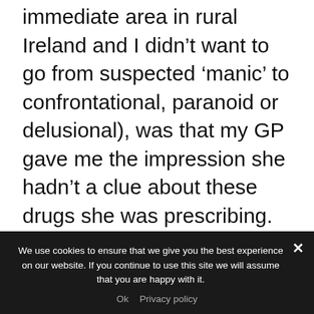immediate area in rural Ireland and I didn't want to go from suspected 'manic' to confrontational, paranoid or delusional), was that my GP gave me the impression she hadn't a clue about these drugs she was prescribing. Not a deaf ear, disbelief or doubt in the integrity of the information I was trying to get her to look up. Just not the most basic clue for a GP.
Twenty years on and I felt sick in the stomach looking at people sitting in the waiting room as I had in another room with what was merely a broken heart and a blow to self-esteem twenty
We use cookies to ensure that we give you the best experience on our website. If you continue to use this site we will assume that you are happy with it.
Ok   Privacy policy